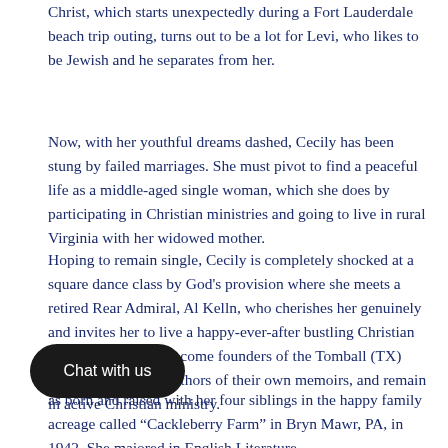Christ, which starts unexpectedly during a Fort Lauderdale beach trip outing, turns out to be a lot for Levi, who likes to be Jewish and he separates from her.
Now, with her youthful dreams dashed, Cecily has been stung by failed marriages. She must pivot to find a peaceful life as a middle-aged single woman, which she does by participating in Christian ministries and going to live in rural Virginia with her widowed mother.
Hoping to remain single, Cecily is completely shocked at a square dance class by God's provision where she meets a retired Rear Admiral, Al Kelln, who cherishes her genuinely and invites her to live a happy-ever-after bustling Christian marriage. The two become founders of the Tomball (TX) Pregnancy Center, authors of their own memoirs, and remain in active Christian ministry.
as born and raised with her four siblings in the happy family acreage called “Cackleberry Farm” in Bryn Mawr, PA, in 1942. She majored in English Literature